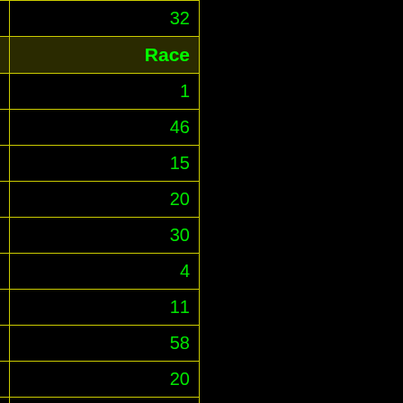| Car Model | Race |
| --- | --- |
| Michel Beaujon | 32 |
| Parnelli VPJ4 | 1 |
| Lotus 78 | 46 |
| Penske PC4 | 15 |
| Lotus 79 | 20 |
| Shadow DN9 | 30 |
| Ensign N177 | 4 |
| Ensign N179 | 11 |
| Arrows A3 | 58 |
| Tyrrell 010 | 20 |
| McLaren M29C | 2 |
| McLaren M29F | 3 |
| Ensign N180B | 16 |
| March 811 | 6 |
| Fittipaldi F8C | 28 |